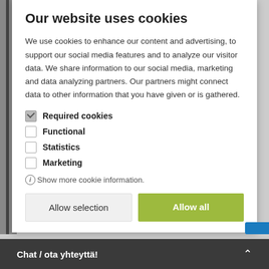Our website uses cookies
We use cookies to enhance our content and advertising, to support our social media features and to analyze our visitor data. We share information to our social media, marketing and data analyzing partners. Our partners might connect data to other information that you have given or is gathered.
Required cookies
Functional
Statistics
Marketing
Show more cookie information.
Allow selection
Allow all
Chat / ota yhteyttä!